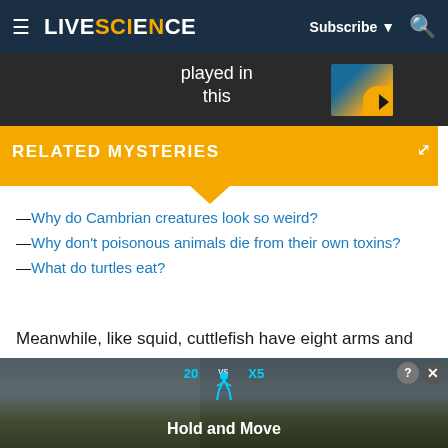LIVESCIENCE — Subscribe ▼ 🔍
[Figure (screenshot): Video thumbnail strip showing partial text 'played in this' with a colorful graphic]
RELATED MYSTERIES
—Why do Cambrian creatures look so weird?
—Why don't poisonous animals die from their own toxins?
—What do turtles eat?
Meanwhile, like squid, cuttlefish have eight arms and two tentacles, which they rapidly deploy to catch fast-moving prey like shrimp and fish, according to a 1984 study published in the journal Behavioral Processes
[Figure (screenshot): Advertisement banner at bottom showing 'Hold and Move' text with outdoor winter scene background]